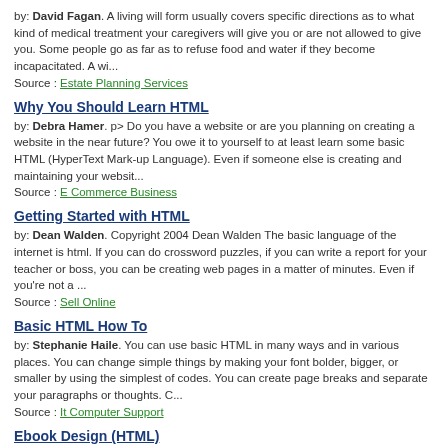by: David Fagan. A living will form usually covers specific directions as to what kind of medical treatment your caregivers will give you or are not allowed to give you. Some people go as far as to refuse food and water if they become incapacitated. A wi...
Source : Estate Planning Services
Why You Should Learn HTML
by: Debra Hamer. p> Do you have a website or are you planning on creating a website in the near future? You owe it to yourself to at least learn some basic HTML (HyperText Mark-up Language). Even if someone else is creating and maintaining your websit...
Source : E Commerce Business
Getting Started with HTML
by: Dean Walden. Copyright 2004 Dean Walden The basic language of the internet is html. If you can do crossword puzzles, if you can write a report for your teacher or boss, you can be creating web pages in a matter of minutes. Even if you're not a ...
Source : Sell Online
Basic HTML How To
by: Stephanie Haile. You can use basic HTML in many ways and in various places. You can change simple things by making your font bolder, bigger, or smaller by using the simplest of codes. You can create page breaks and separate your paragraphs or thoughts. C...
Source : It Computer Support
Ebook Design (HTML)